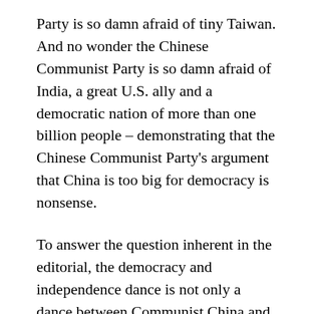Party is so damn afraid of tiny Taiwan. And no wonder the Chinese Communist Party is so damn afraid of India, a great U.S. ally and a democratic nation of more than one billion people – demonstrating that the Chinese Communist Party's argument that China is too big for democracy is nonsense.
To answer the question inherent in the editorial, the democracy and independence dance is not only a dance between Communist China and Taiwan, truly of necessity for Taiwan's benefit and survival. If it were, it would be a very short and painful dance. It is a very complicated dance and the dance floor is quite crowded, and Communist China is by far